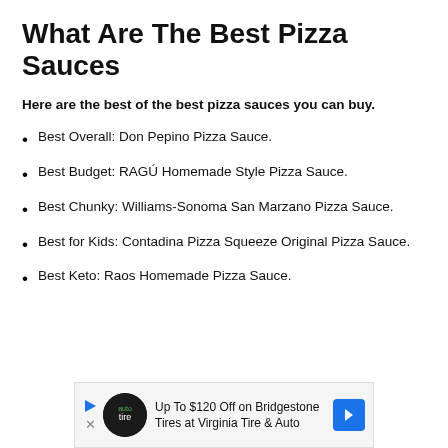What Are The Best Pizza Sauces
Here are the best of the best pizza sauces you can buy.
Best Overall: Don Pepino Pizza Sauce.
Best Budget: RAGÚ Homemade Style Pizza Sauce.
Best Chunky: Williams-Sonoma San Marzano Pizza Sauce.
Best for Kids: Contadina Pizza Squeeze Original Pizza Sauce.
Best Keto: Raos Homemade Pizza Sauce.
[Figure (other): Advertisement banner: Up To $120 Off on Bridgestone Tires at Virginia Tire & Auto]